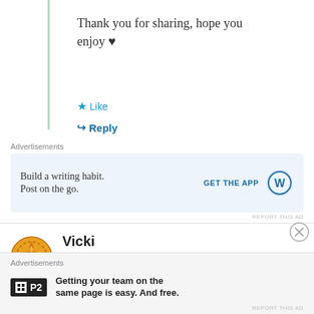Thank you for sharing, hope you enjoy ♥
★ Like
↪ Reply
Advertisements
[Figure (screenshot): WordPress ad: Build a writing habit. Post on the go. GET THE APP with WordPress logo]
REPORT THIS AD
Vicki
January 9, 2021 at 7:32 PM
Advertisements
[Figure (screenshot): P2 ad: Getting your team on the same page is easy. And free.]
REPORT THIS AD